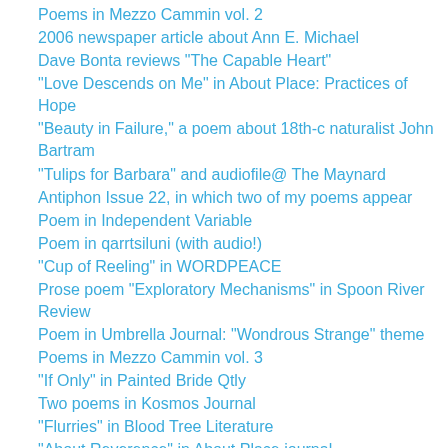Poems in Mezzo Cammin vol. 2
2006 newspaper article about Ann E. Michael
Dave Bonta reviews "The Capable Heart"
"Love Descends on Me" in About Place: Practices of Hope
"Beauty in Failure," a poem about 18th-c naturalist John Bartram
"Tulips for Barbara" and audiofile@ The Maynard
Antiphon Issue 22, in which two of my poems appear
Poem in Independent Variable
Poem in qarrtsiluni (with audio!)
"Cup of Reeling" in WORDPEACE
Prose poem "Exploratory Mechanisms" in Spoon River Review
Poem in Umbrella Journal: "Wondrous Strange" theme
Poems in Mezzo Cammin vol. 3
"If Only" in Painted Bride Qtly
Two poems in Kosmos Journal
"Flurries" in Blood Tree Literature
"About Reverence" in About Place journal
Review of Water-Rites by Brian Fanelli (Pank magazine)
VirtualArtistsCollective review of Water-Rites
"Bright Satellite" appearing in A Quiet Courage online